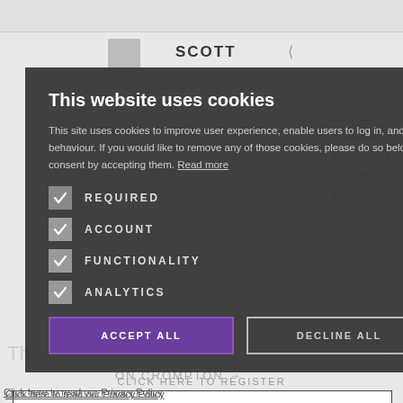[Figure (screenshot): Background webpage showing a comment section with user 'SCOTT', a reply to Simon Crompton, and partially visible text content on the right side. A cookie consent modal overlay is displayed on top.]
This website uses cookies
This site uses cookies to improve user experience, enable users to log in, and note behaviour. If you would like to remove any of those cookies, please do so below, or consent by accepting them. Read more
REQUIRED
ACCOUNT
FUNCTIONALITY
ANALYTICS
ACCEPT ALL
DECLINE ALL
Click here to read our Privacy Policy